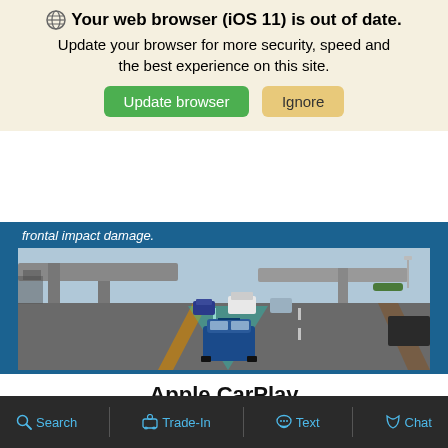Your web browser (iOS 11) is out of date. Update your browser for more security, speed and the best experience on this site.
frontal impact damage.
[Figure (photo): A blue SUV on a highway with sensor/radar visualization showing detected vehicles ahead, overlaid with a cyan/green detection cone. Highway overpass visible in background.]
Apple CarPlay
Search | Trade-In | Text | Chat